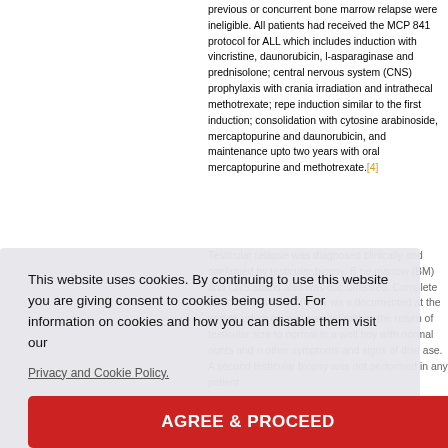previous or concurrent bone marrow relapse were ineligible. All patients had received the MCP 841 protocol for ALL which includes induction with vincristine, daunorubicin, l-asparaginase and prednisolone; central nervous system (CNS) prophylaxis with cranial irradiation and intrathecal methotrexate; repeat induction similar to the first induction; consolidation with cytosine arabinoside, mercaptopurine and daunorubicin, and maintenance upto two years with oral mercaptopurine and methotrexate.[4]
Testicular relapse was diagnosed clinically and confirmed by testicular biopsy. Bone marrow (BM) and CNS status also was documented. Complete testicular remission (CTR) was documented at the end of induction and was defined as the return of testicular size to normal in a well boy with normal counts and no other symptoms and signs of disease. A second testicular biopsy was not performed in any patient.
As shown in the [Table - 1], the modified CCS-112 protocol (Regimen B) consisted of induction with vincristine, l-asparaginase, daunorubicin, prednisolone and
This website uses cookies. By continuing to use this website you are giving consent to cookies being used. For information on cookies and how you can disable them visit our Privacy and Cookie Policy. AGREE & PROCEED